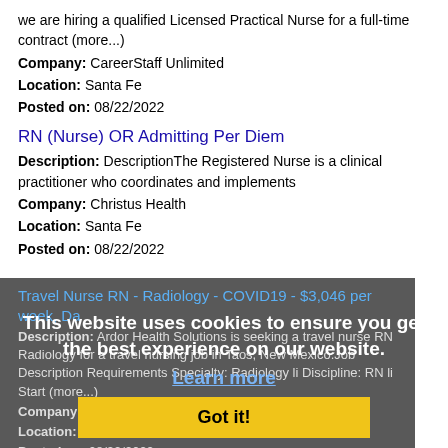we are hiring a qualified Licensed Practical Nurse for a full-time contract (more...)
Company: CareerStaff Unlimited
Location: Santa Fe
Posted on: 08/22/2022
RN (Nurse) OR Admitting Per Diem
Description: DescriptionThe Registered Nurse is a clinical practitioner who coordinates and implements
Company: Christus Health
Location: Santa Fe
Posted on: 08/22/2022
Travel Nurse RN - Radiology - COVID19 - $3,046 per week, Da
This website uses cookies to ensure you get the best experience on our website.
Learn more
Description: Ardor Health Solutions is seeking a travel nurse RN Radiology for a travel nursing job in Taos, New Mexico.Job Description Requirements Specialty: Radiology li Discipline: RN li Start (more...)
Company: Ardor Health Solutions
Location: Taos
Posted on: 08/22/2022
Got it!
Scientific Data Analyst